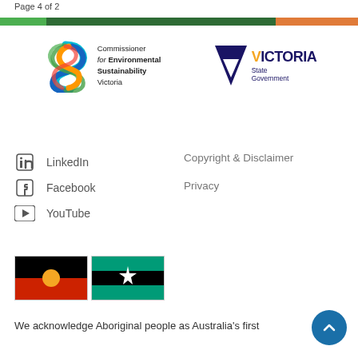Page 4 of 2
[Figure (logo): Commissioner for Environmental Sustainability Victoria logo with colorful S swirl]
[Figure (logo): Victoria State Government logo with navy triangle and VICTORIA text]
LinkedIn
Facebook
YouTube
Copyright & Disclaimer
Privacy
[Figure (other): Aboriginal flag and Torres Strait Islander flag side by side]
We acknowledge Aboriginal people as Australia's first